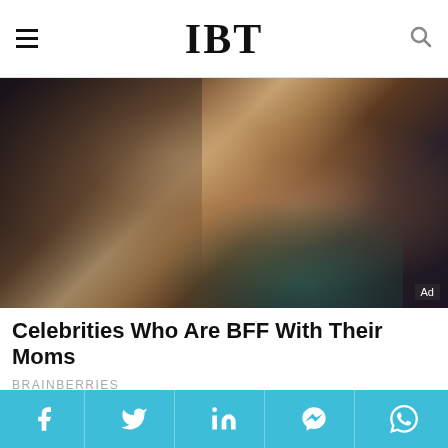IBT
[Figure (photo): Two people embracing closely — a man in a tuxedo and a woman in a green/teal top, looking at each other affectionately. Ad label in bottom-right corner.]
Celebrities Who Are BFF With Their Moms
BRAINBERRIES
[Figure (photo): Close-up photo of rice grains and a bowl of rice water or liquid on a wooden surface.]
Social share bar with Facebook, Twitter, LinkedIn, Messenger, WhatsApp icons